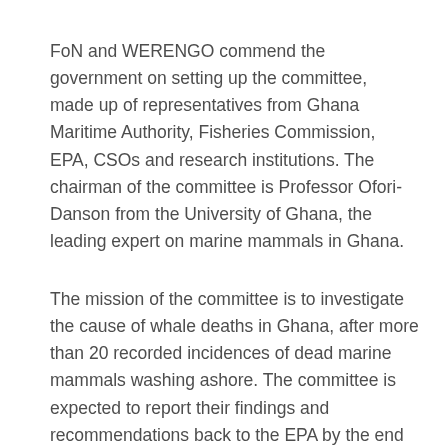FoN and WERENGO commend the government on setting up the committee, made up of representatives from Ghana Maritime Authority, Fisheries Commission, EPA, CSOs and research institutions. The chairman of the committee is Professor Ofori-Danson from the University of Ghana, the leading expert on marine mammals in Ghana.
The mission of the committee is to investigate the cause of whale deaths in Ghana, after more than 20 recorded incidences of dead marine mammals washing ashore. The committee is expected to report their findings and recommendations back to the EPA by the end